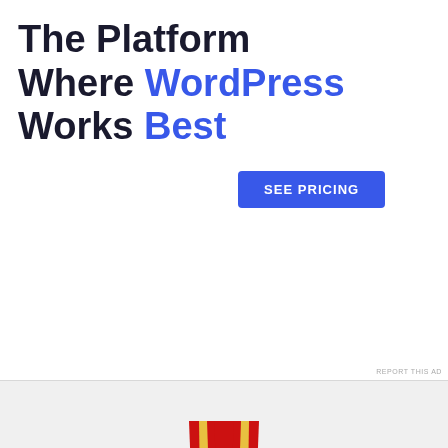The Platform Where WordPress Works Best
SEE PRICING
[Figure (illustration): Gold medal with red and gold striped ribbon, award trophy illustration]
Advertisements
REPORT THIS AD